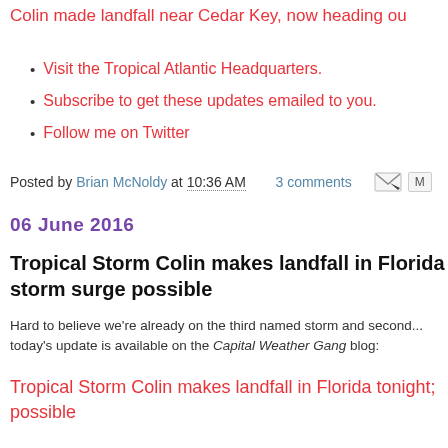Colin made landfall near Cedar Key, now heading ou
Visit the Tropical Atlantic Headquarters.
Subscribe to get these updates emailed to you.
Follow me on Twitter
Posted by Brian McNoldy at 10:36 AM   3 comments
06 June 2016
Tropical Storm Colin makes landfall in Florida tonight; storm surge possible
Hard to believe we're already on the third named storm and second... today's update is available on the Capital Weather Gang blog:
Tropical Storm Colin makes landfall in Florida tonight; storm surge possible